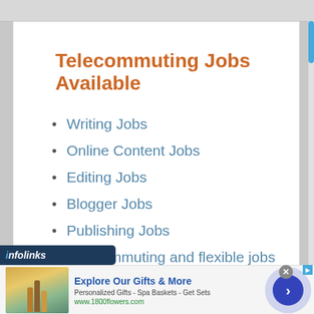Telecommuting Jobs Available
Writing Jobs
Online Content Jobs
Editing Jobs
Blogger Jobs
Publishing Jobs
Telecommuting and flexible jobs at Flexjobs
[Figure (screenshot): Infolinks advertisement bar with 1800flowers.com ad showing gift products, bold blue title 'Explore Our Gifts & More', description text 'Personalized Gifts - Spa Baskets - Get Sets', and URL www.1800flowers.com. Navigation arrow button on right side.]